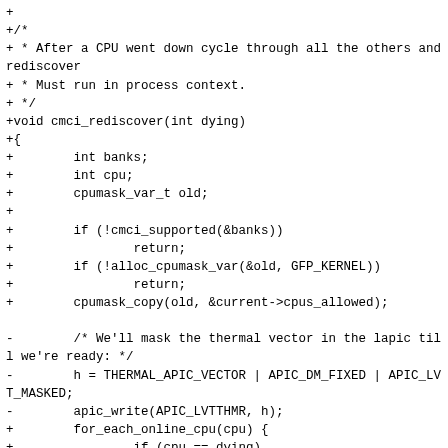+
+/*
+ * After a CPU went down cycle through all the others and rediscover
+ * Must run in process context.
+ */
+void cmci_rediscover(int dying)
+{
+        int banks;
+        int cpu;
+        cpumask_var_t old;
+
+        if (!cmci_supported(&banks))
+                return;
+        if (!alloc_cpumask_var(&old, GFP_KERNEL))
+                return;
+        cpumask_copy(old, &current->cpus_allowed);

-        /* We'll mask the thermal vector in the lapic till we're ready: */
-        h = THERMAL_APIC_VECTOR | APIC_DM_FIXED | APIC_LVT_MASKED;
-        apic_write(APIC_LVTTHMR, h);
+        for_each_online_cpu(cpu) {
+                if (cpu == dying)
+                        continue;
+                if (set_cpus_allowed_ptr(current, cpumask_of(cpu)))
+                        continue;
+                /* Recheck banks in case CPUs don't all